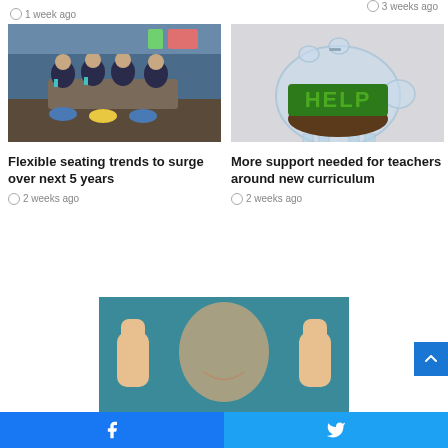3 weeks ago
1 week ago
[Figure (photo): Children in school uniforms sitting around a table in a classroom]
Flexible seating trends to surge over next 5 years
2 weeks ago
[Figure (photo): A clear glass piggy bank containing soil with the word HELP spelled in green grass letters]
More support needed for teachers around new curriculum
2 weeks ago
[Figure (photo): Person giving two thumbs up, partially blurred, against a teal background]
Facebook | Twitter